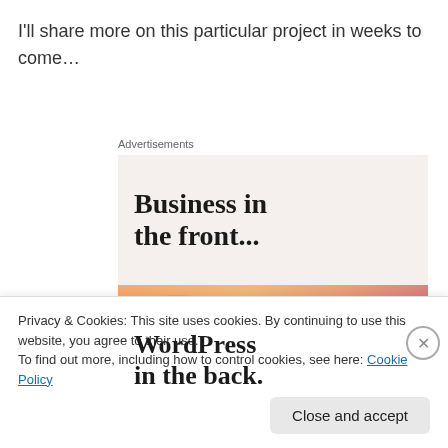I'll share more on this particular project in weeks to come…
Advertisements
[Figure (illustration): Advertisement banner: top half shows 'Business in the front...' in bold serif on a light beige background; bottom half shows 'WordPress in the back.' in bold serif on a colorful gradient background with orange, pink, and purple blobs.]
Privacy & Cookies: This site uses cookies. By continuing to use this website, you agree to their use.
To find out more, including how to control cookies, see here: Cookie Policy
Close and accept